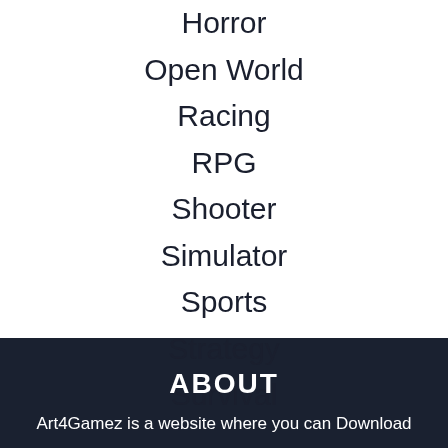Horror
Open World
Racing
RPG
Shooter
Simulator
Sports
Strategy
Survival
ABOUT
Art4Gamez is a website where you can Download